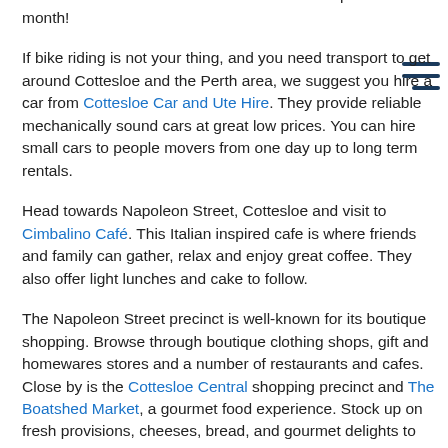mingle through the hive of people enjoying the sun, sea and surf. You can hire a bike from four hours and up to one month!
If bike riding is not your thing, and you need transport to get around Cottesloe and the Perth area, we suggest you hire a car from Cottesloe Car and Ute Hire. They provide reliable mechanically sound cars at great low prices. You can hire small cars to people movers from one day up to long term rentals.
Head towards Napoleon Street, Cottesloe and visit to Cimbalino Café. This Italian inspired cafe is where friends and family can gather, relax and enjoy great coffee. They also offer light lunches and cake to follow.
The Napoleon Street precinct is well-known for its boutique shopping. Browse through boutique clothing shops, gift and homewares stores and a number of restaurants and cafes. Close by is the Cottesloe Central shopping precinct and The Boatshed Market, a gourmet food experience. Stock up on fresh provisions, cheeses, bread, and gourmet delights to enjoy back at your self-contained accommodation. Create your own gourmet picnic and head down to Cottesloe beach and enjoy the sunset over a glass of wine and platter of cheese and dips.
As the sun goes down, discover Cottesloe from the balcony at Barchetta Cottesloe. Barchetta is a beachfront fine dining